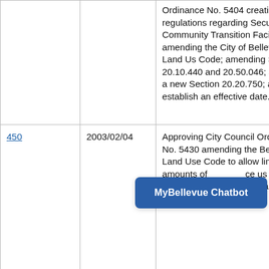|  | Date | Description |
| --- | --- | --- |
|  |  | Ordinance No. 5404 creating regulations regarding Secure Community Transition Facilities; amending the City of Bellevue Land Use Code; amending Section 20.10.440 and 20.50.046; adding a new Section 20.20.750; and establishing an effective date. |
| 450 | 2003/02/04 | Approving City Council Ordinance No. 5430 amending the Bellevue Land Use Code to allow limited amounts of office use in the Neighborhood Business land use distr... |